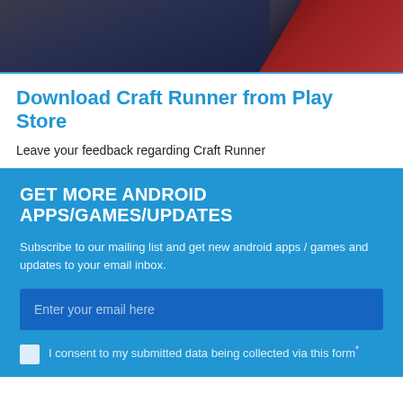[Figure (photo): Dark background image showing partial figure with red geometric shape on right, appears to be a game or app screenshot]
Download Craft Runner from Play Store
Leave your feedback regarding Craft Runner
GET MORE ANDROID APPS/GAMES/UPDATES
Subscribe to our mailing list and get new android apps / games and updates to your email inbox.
Enter your email here
I consent to my submitted data being collected via this form*